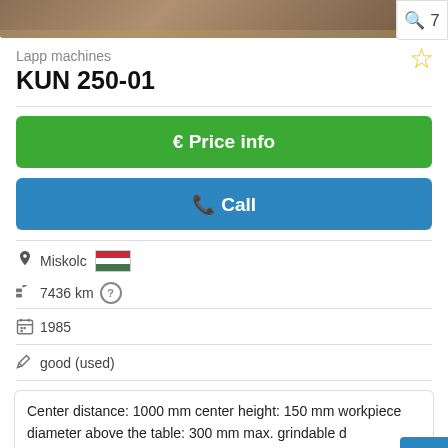[Figure (photo): Partial view of a machine (lathe/grinder) at top of listing card]
Lapp machines
KUN 250-01
€ Price info
Call
Miskolc
7436 km
1985
good (used)
Center distance: 1000 mm center height: 150 mm workpiece diameter above the table: 300 mm max. grindable diameter: 150 kg grinding wheel dimensions: 500x80x203 mm rotational spe
Save search query